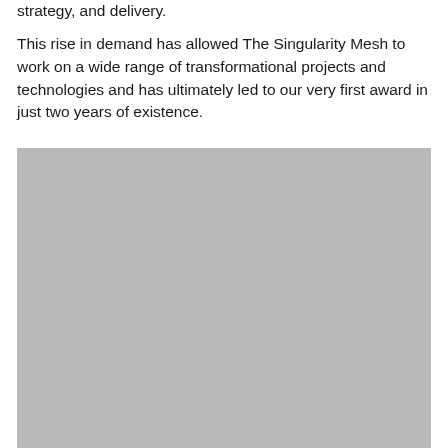strategy, and delivery.
This rise in demand has allowed The Singularity Mesh to work on a wide range of transformational projects and technologies and has ultimately led to our very first award in just two years of existence.
[Figure (photo): A large gray placeholder image occupying the lower portion of the page.]